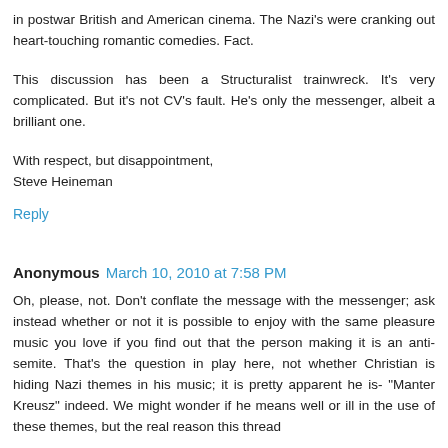in postwar British and American cinema. The Nazi's were cranking out heart-touching romantic comedies. Fact.
This discussion has been a Structuralist trainwreck. It's very complicated. But it's not CV's fault. He's only the messenger, albeit a brilliant one.
With respect, but disappointment,
Steve Heineman
Reply
Anonymous March 10, 2010 at 7:58 PM
Oh, please, not. Don't conflate the message with the messenger; ask instead whether or not it is possible to enjoy with the same pleasure music you love if you find out that the person making it is an anti-semite. That's the question in play here, not whether Christian is hiding Nazi themes in his music; it is pretty apparent he is- "Manter Kreusz" indeed. We might wonder if he means well or ill in the use of these themes, but the real reason this thread has something more substantially challenging about it is